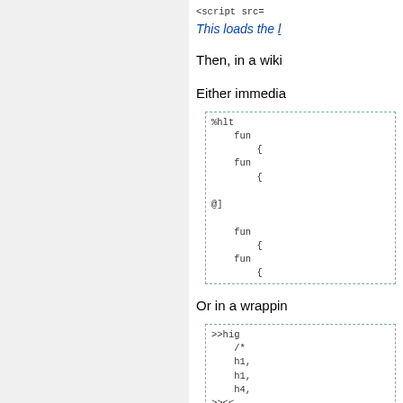<script src=...
This loads the [link]...
Then, in a wiki...
Either immedia...
%hlt
  fun
    {
  fun
    {
@]

  fun
    {
  fun
    {
Or in a wrappin...
>>hig
  /*
  h1,
  h1,
  h4,
>><
  /*